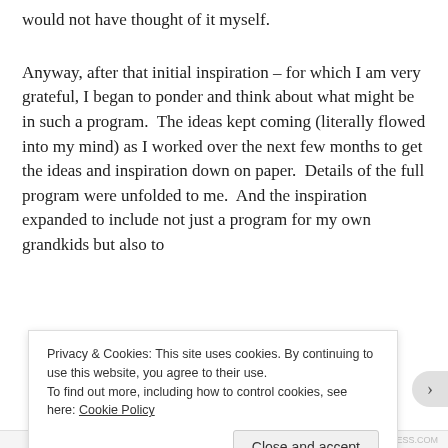would not have thought of it myself.
Anyway, after that initial inspiration – for which I am very grateful, I began to ponder and think about what might be in such a program.  The ideas kept coming (literally flowed into my mind) as I worked over the next few months to get the ideas and inspiration down on paper.  Details of the full program were unfolded to me.  And the inspiration expanded to include not just a program for my own grandkids but also to
Privacy & Cookies: This site uses cookies. By continuing to use this website, you agree to their use.
To find out more, including how to control cookies, see here: Cookie Policy
Close and accept